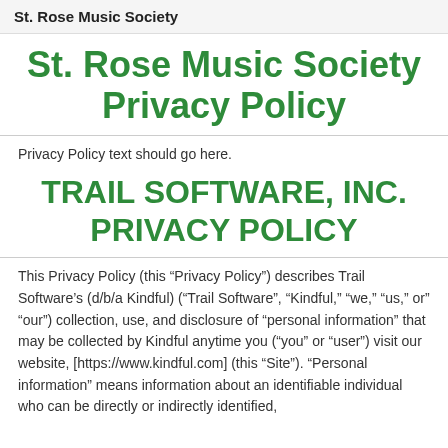St. Rose Music Society
St. Rose Music Society Privacy Policy
Privacy Policy text should go here.
TRAIL SOFTWARE, INC. PRIVACY POLICY
This Privacy Policy (this “Privacy Policy”) describes Trail Software’s (d/b/a Kindful) (“Trail Software”, “Kindful,” “we,” “us,” or” “our”) collection, use, and disclosure of “personal information” that may be collected by Kindful anytime you (“you” or “user”) visit our website, [https://www.kindful.com] (this “Site”). “Personal information” means information about an identifiable individual who can be directly or indirectly identified,